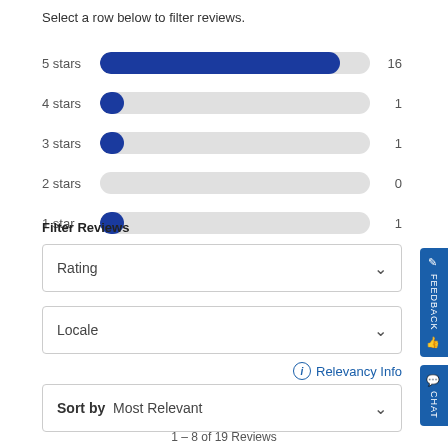Select a row below to filter reviews.
[Figure (bar-chart): Star rating distribution]
Filter Reviews
Rating
Locale
Relevancy Info
Sort by  Most Relevant
1 – 8 of 19 Reviews